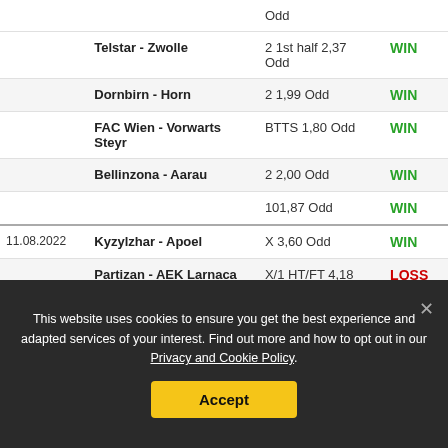| Date | Match | Odd | Result |
| --- | --- | --- | --- |
|  |  | Odd |  |
|  | Telstar - Zwolle | 2 1st half 2,37 Odd | WIN |
|  | Dornbirn - Horn | 2 1,99 Odd | WIN |
|  | FAC Wien - Vorwarts Steyr | BTTS 1,80 Odd | WIN |
|  | Bellinzona - Aarau | 2 2,00 Odd | WIN |
|  |  | 101,87 Odd | WIN |
| 11.08.2022 | Kyzylzhar - Apoel | X 3,60 Odd | WIN |
|  | Partizan - AEK Larnaca | X/1 HT/FT 4,18 Odd | LOSS |
|  | CFR Cluj - Shakhtyor | 1 1st half 2,30 Odd | WIN |
This website uses cookies to ensure you get the best experience and adapted services of your interest. Find out more and how to opt out in our Privacy and Cookie Policy.